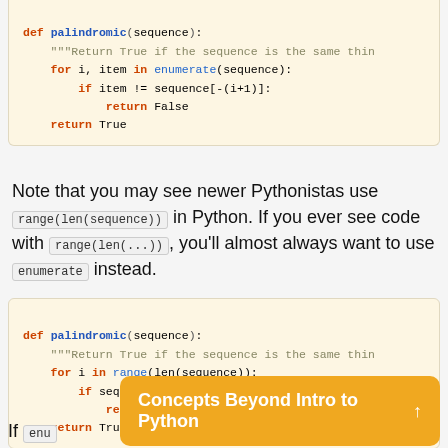[Figure (screenshot): Python code block showing palindromic function with enumerate, top portion cut off]
Note that you may see newer Pythonistas use range(len(sequence)) in Python. If you ever see code with range(len(...)), you'll almost always want to use enumerate instead.
[Figure (screenshot): Python code block showing palindromic function with range(len(sequence))]
If enu
Concepts Beyond Intro to Python ↑